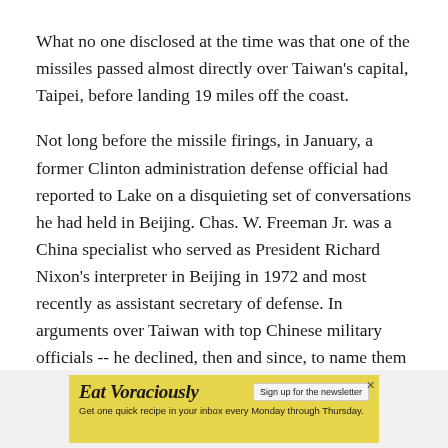What no one disclosed at the time was that one of the missiles passed almost directly over Taiwan's capital, Taipei, before landing 19 miles off the coast.
Not long before the missile firings, in January, a former Clinton administration defense official had reported to Lake on a disquieting set of conversations he had held in Beijing. Chas. W. Freeman Jr. was a China specialist who served as President Richard Nixon's interpreter in Beijing in 1972 and most recently as assistant secretary of defense. In arguments over Taiwan with top Chinese military officials -- he declined, then and since, to name them -- he said he had heard an implied nuclear threat against the United States.
[Figure (other): Advertisement banner for 'Eat Voraciously' newsletter with yellow background, showing title in italic bold, a 'Sign up for the newsletter' button, and tagline 'Get one quick recipe in your inbox every Monday through Thursday.']